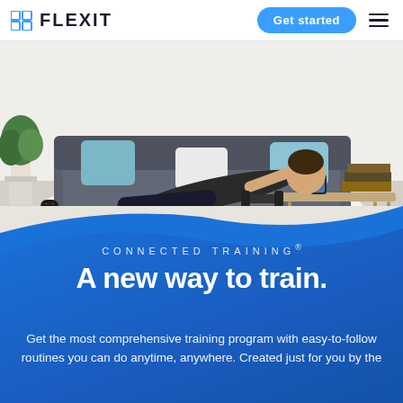FLEXIT | Get started
[Figure (photo): Man doing a dumbbell row exercise in a living room with a grey sofa, plant, coffee table, and books. A FLEXIT branded workout mat is visible on the floor.]
CONNECTED TRAINING®
A new way to train.
Get the most comprehensive training program with easy-to-follow routines you can do anytime, anywhere. Created just for you by the